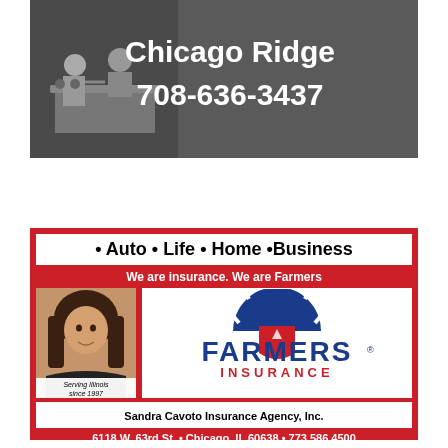[Figure (illustration): Top advertisement banner with gray background, illustration of people at a counter/bowling alley on the left, and text 'Chicago Ridge 708-636-3437' on the right]
[Figure (infographic): Farmers Insurance advertisement. Red background with white top bar listing 'Auto • Life • Home • Business'. Tagline: 'We are insurance. We are Farmers'. Agent photo on left with 'Serving Illinois since 1997' badge. Farmers Insurance logo on right. Agency name: Sandra Cavoto Insurance Agency, Inc. Address: 6118 W. 63rd St. • Chicago, IL 60638 • 773.586.4500. Contact: scavoto@farmersagent.com • www.farmersagent.com/scavoto]